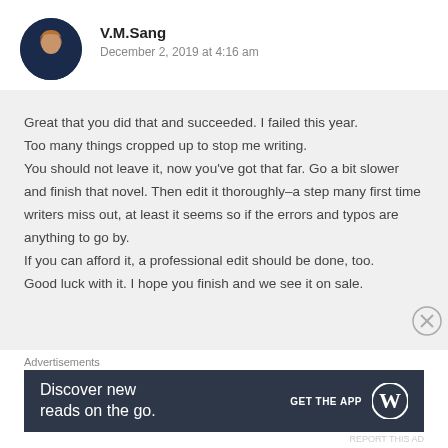V.M.Sang
December 2, 2019 at 4:16 am
Great that you did that and succeeded. I failed this year. Too many things cropped up to stop me writing. You should not leave it, now you've got that far. Go a bit slower and finish that novel. Then edit it thoroughly–a step many first time writers miss out, at least it seems so if the errors and typos are anything to go by. If you can afford it, a professional edit should be done, too. Good luck with it. I hope you finish and we see it on sale.
Advertisements
[Figure (other): Advertisement banner: 'Discover new reads on the go.' with GET THE APP button and WordPress logo on dark background]